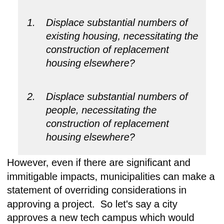1. Displace substantial numbers of existing housing, necessitating the construction of replacement housing elsewhere?
2. Displace substantial numbers of people, necessitating the construction of replacement housing elsewhere?
However, even if there are significant and immitigable impacts, municipalities can make a statement of overriding considerations in approving a project.  So let’s say a city approves a new tech campus which would create 50,000 jobs but doesn’t create housing for the additional employees. Said city would be in development